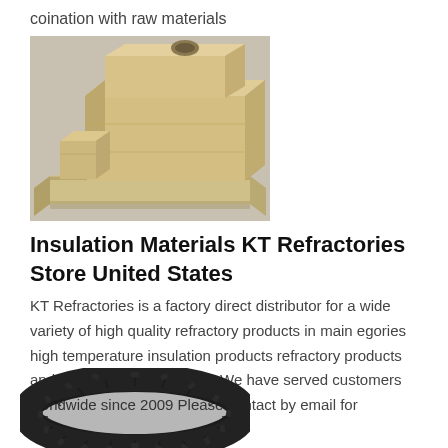coination with raw materials
[Figure (photo): Stacked beige/tan refractory brick blocks arranged in a cube-like formation outdoors]
Insulation Materials KT Refractories Store United States
KT Refractories is a factory direct distributor for a wide variety of high quality refractory products in main egories high temperature insulation products refractory products and refractory raw materials We have served customers worldwide since 2009 Please contact by email for
[Figure (photo): Dark circular ring-shaped refractory or industrial component viewed from above, with segmented/interlocking pieces]